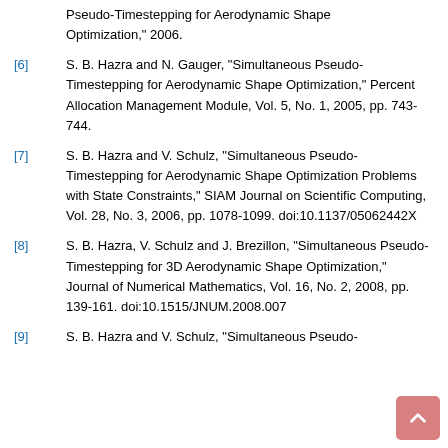Pseudo-Timestepping for Aerodynamic Shape Optimization," 2006.
[6] S. B. Hazra and N. Gauger, "Simultaneous Pseudo-Timestepping for Aerodynamic Shape Optimization," Percent Allocation Management Module, Vol. 5, No. 1, 2005, pp. 743-744.
[7] S. B. Hazra and V. Schulz, "Simultaneous Pseudo-Timestepping for Aerodynamic Shape Optimization Problems with State Constraints," SIAM Journal on Scientific Computing, Vol. 28, No. 3, 2006, pp. 1078-1099. doi:10.1137/05062442X
[8] S. B. Hazra, V. Schulz and J. Brezillon, "Simultaneous Pseudo-Timestepping for 3D Aerodynamic Shape Optimization," Journal of Numerical Mathematics, Vol. 16, No. 2, 2008, pp. 139-161. doi:10.1515/JNUM.2008.007
[9] S. B. Hazra and V. Schulz, "Simultaneous Pseudo-